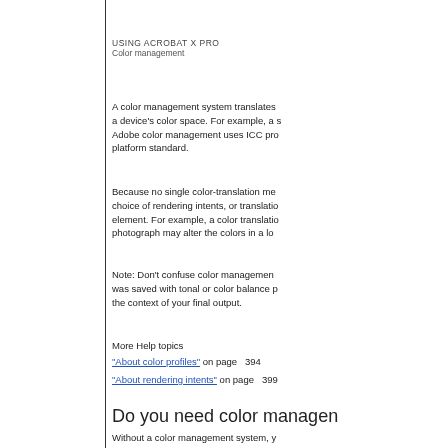USING ACROBAT X PRO
Color management
A color management system translates a device's color space. For example, a s Adobe color management uses ICC pro platform standard.
Because no single color-translation me choice of rendering intents, or translatio element. For example, a color translatio photograph may alter the colors in a lo
Note: Don’t confuse color managemen was saved with tonal or color balance p the context of your final output.
More Help topics
“About color profiles” on page 394
“About rendering intents” on page 399
Do you need color managen
Without a color management system, y